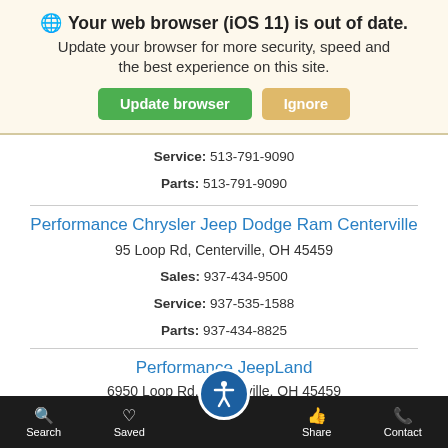🌐 Your web browser (iOS 11) is out of date. Update your browser for more security, speed and the best experience on this site. Update browser  Ignore
Service: 513-791-9090
Parts: 513-791-9090
Performance Chrysler Jeep Dodge Ram Centerville
95 Loop Rd, Centerville, OH 45459
Sales: 937-434-9500
Service: 937-535-1588
Parts: 937-434-8825
Performance JeepLand
6950 Loop Rd, Centerville, OH 45459
Search  Saved  Share  Contact